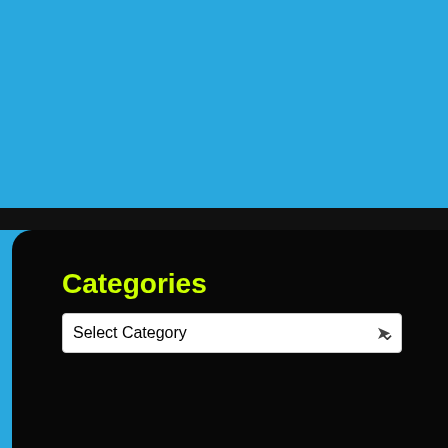Enter...
← Previous
Categories
Select Category
Recent Posts
Free Will or God's
Chasing Butterflie...
What Do You See...
Faith Over Fear
The Friendship C...